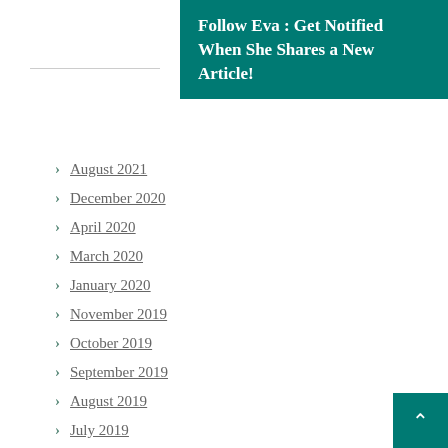Follow Eva : Get Notified When She Shares a New Article!
August 2021
December 2020
April 2020
March 2020
January 2020
November 2019
October 2019
September 2019
August 2019
July 2019
May 2019
April 2019
February 2019